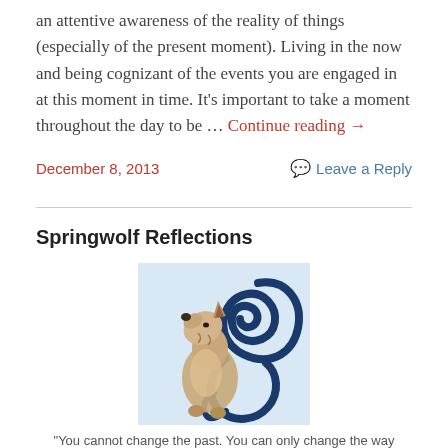an attentive awareness of the reality of things (especially of the present moment). Living in the now and being cognizant of the events you are engaged in at this moment in time. It's important to take a moment throughout the day to be … Continue reading →
December 8, 2013
Leave a Reply
Springwolf Reflections
[Figure (illustration): A howling wolf against a blue decorative Springwolf logo background]
"You cannot change the past. You can only change the way